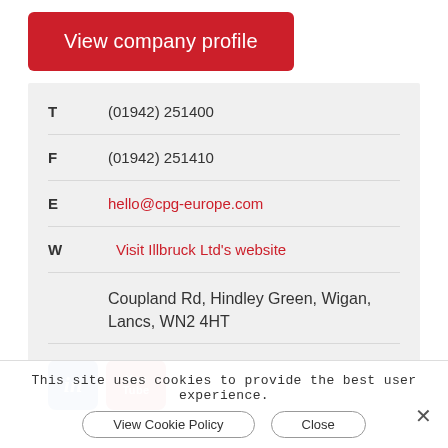View company profile
| T | (01942) 251400 |
| F | (01942) 251410 |
| E | hello@cpg-europe.com |
| W | Visit Illbruck Ltd's website |
|  | Coupland Rd, Hindley Green, Wigan, Lancs, WN2 4HT |
[Figure (logo): LinkedIn and YouTube social media icons]
This site uses cookies to provide the best user experience.
View Cookie Policy
Close